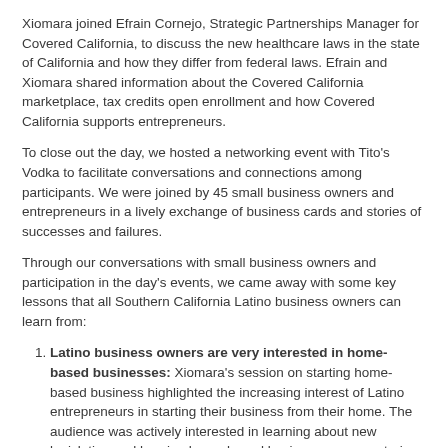Xiomara joined Efrain Cornejo, Strategic Partnerships Manager for Covered California, to discuss the new healthcare laws in the state of California and how they differ from federal laws. Efrain and Xiomara shared information about the Covered California marketplace, tax credits open enrollment and how Covered California supports entrepreneurs.
To close out the day, we hosted a networking event with Tito's Vodka to facilitate conversations and connections among participants. We were joined by 45 small business owners and entrepreneurs in a lively exchange of business cards and stories of successes and failures.
Through our conversations with small business owners and participation in the day's events, we came away with some key lessons that all Southern California Latino business owners can learn from:
Latino business owners are very interested in home-based businesses: Xiomara's session on starting home-based business highlighted the increasing interest of Latino entrepreneurs in starting their business from their home. The audience was actively interested in learning about new legislation and hearing home-based business success stories
There are many resources available in Spanish: Hearing from all our partners and fellow small business advocates, it is clear that there is an abundance of resources for Spanish speakers in Southern California. Don't hesitate to reach out; we can connect you to the right folks!
Networks are key to small business success: Entrepreneurs would benefit tremendously by being connected to their small business ecosystem. Everyone who participated in this year's event came away with